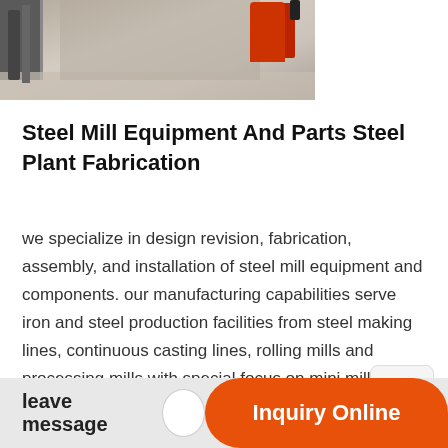[Figure (photo): Industrial steel mill facility interior showing equipment, concrete structures, metal pillars on left, and a red fire extinguisher or cylinder on the right]
Steel Mill Equipment And Parts Steel Plant Fabrication
we specialize in design revision, fabrication, assembly, and installation of steel mill equipment and components. our manufacturing capabilities serve iron and steel production facilities from steel making lines, continuous casting lines, rolling mills and processing mills with special focus on mini mill electric arc furnace components (eaf), dummy bars and chains, copper moulds,